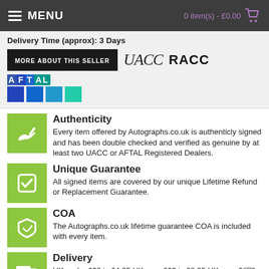MENU | 0 item(s) - £0.00
Delivery Time (approx): 3 Days
[Figure (logo): MORE ABOUT THIS SELLER button, UACC logo, RACC logo, AFTAL logo with colored squares]
Authenticity
Every item offered by Autographs.co.uk is authenticly signed and has been double checked and verified as genuine by at least two UACC or AFTAL Registered Dealers.
Unique Guarantee
All signed items are covered by our unique Lifetime Refund or Replacement Guarantee.
COA
The Autographs.co.uk lifetime guarantee COA is included with every item.
Delivery
UK under £69 is £4.95 UK over £69 is £8.95 UK over £120 is